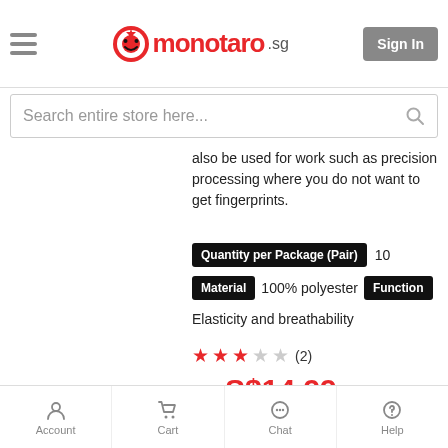monotaro.sg — Sign In
Search entire store here...
also be used for work such as precision processing where you do not want to get fingerprints.
Quantity per Package (Pair)  10
Material  100% polyester  Function
Elasticity and breathability
★★★☆☆ (2)
from S$14.99
Shipping Min. 2 days
See All Products
Account  Cart  Chat  Help